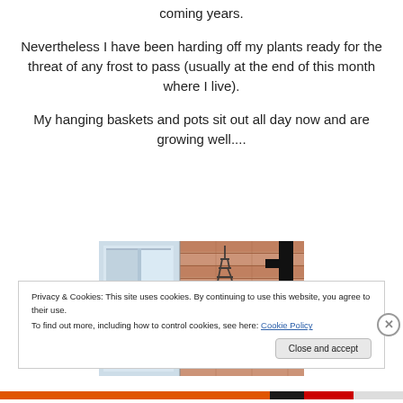coming years.
Nevertheless I have been harding off my plants ready for the threat of any frost to pass (usually at the end of this month where I live).
My hanging baskets and pots sit out all day now and are growing well....
[Figure (photo): Photo showing a hanging basket bracket mounted on a brick wall next to a white door/window frame, with chains visible]
Privacy & Cookies: This site uses cookies. By continuing to use this website, you agree to their use.
To find out more, including how to control cookies, see here: Cookie Policy